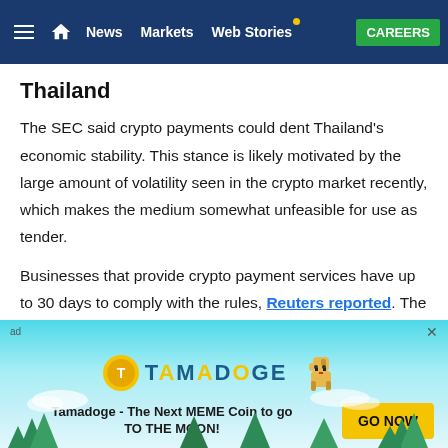News | Markets | Web Stories | CAREERS
Thailand
The SEC said crypto payments could dent Thailand’s economic stability. This stance is likely motivated by the large amount of volatility seen in the crypto market recently, which makes the medium somewhat unfeasible for use as tender.
Businesses that provide crypto payment services have up to 30 days to comply with the rules, Reuters reported. The move is in line with most other countries’ approach to
[Figure (infographic): Advertisement banner for Tamadoge - The Next MEME Coin to go TO THE MOON! with GO NOW button]